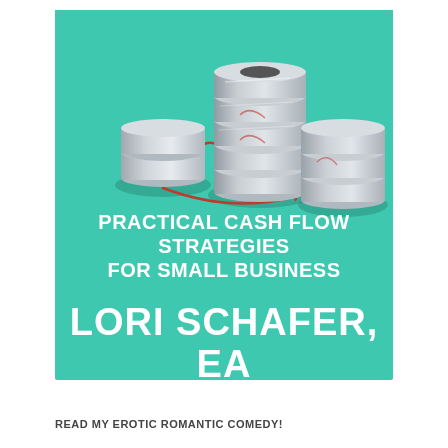[Figure (illustration): Book cover with teal/green background showing stacked silver coins growing in height with red arrows indicating flow/growth, title text 'PRACTICAL CASH FLOW STRATEGIES FOR SMALL BUSINESS' and author 'LORI SCHAFER, EA']
READ MY EROTIC ROMANTIC COMEDY!